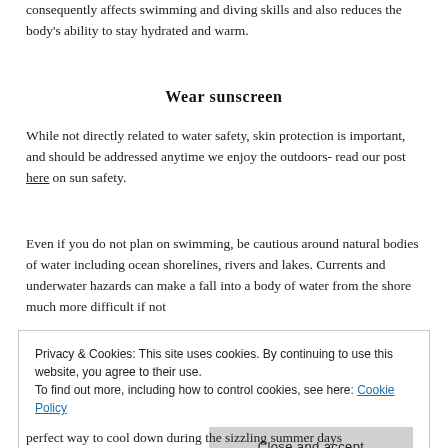consequently affects swimming and diving skills and also reduces the body's ability to stay hydrated and warm.
Wear sunscreen
While not directly related to water safety, skin protection is important, and should be addressed anytime we enjoy the outdoors- read our post here on sun safety.
Even if you do not plan on swimming, be cautious around natural bodies of water including ocean shorelines, rivers and lakes. Currents and underwater hazards can make a fall into a body of water from the shore much more difficult if not
Privacy & Cookies: This site uses cookies. By continuing to use this website, you agree to their use.
To find out more, including how to control cookies, see here: Cookie Policy
Close and accept
perfect way to cool down during the sizzling summer days